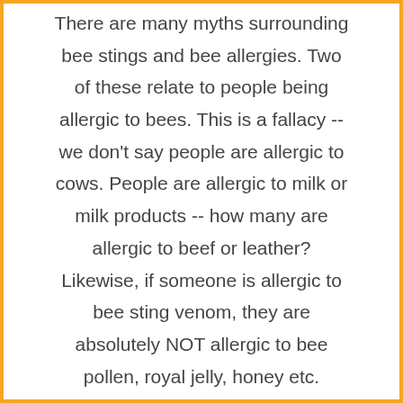There are many myths surrounding bee stings and bee allergies. Two of these relate to people being allergic to bees. This is a fallacy -- we don't say people are allergic to cows. People are allergic to milk or milk products -- how many are allergic to beef or leather? Likewise, if someone is allergic to bee sting venom, they are absolutely NOT allergic to bee pollen, royal jelly, honey etc.

There is zero evidence to suggest otherwise. Bee product suppliers are doing themselves a disservice by putting warning